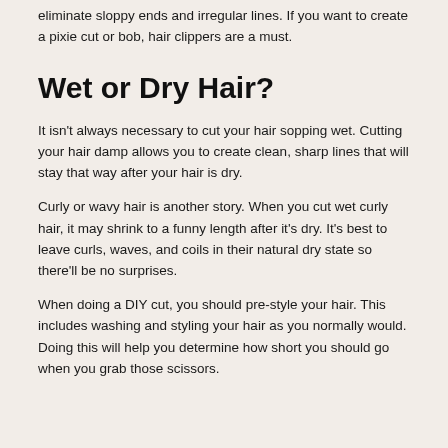eliminate sloppy ends and irregular lines. If you want to create a pixie cut or bob, hair clippers are a must.
Wet or Dry Hair?
It isn't always necessary to cut your hair sopping wet. Cutting your hair damp allows you to create clean, sharp lines that will stay that way after your hair is dry.
Curly or wavy hair is another story. When you cut wet curly hair, it may shrink to a funny length after it's dry. It's best to leave curls, waves, and coils in their natural dry state so there'll be no surprises.
When doing a DIY cut, you should pre-style your hair. This includes washing and styling your hair as you normally would. Doing this will help you determine how short you should go when you grab those scissors.